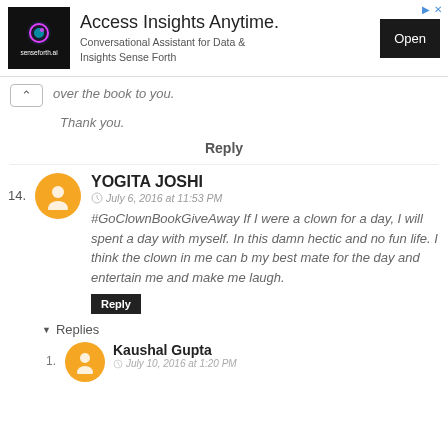[Figure (infographic): Ad banner for senseforth.ai: Access Insights Anytime. Conversational Assistant for Data & Insights Sense Forth. Open button.]
over the book to you.
Thank you.
Reply
14. YOGITA JOSHI
July 6, 2016 at 11:53 PM
#GoClownBookGiveAway If I were a clown for a day, I will spent a day with myself. In this damn hectic and no fun life. I think the clown in me can b my best mate for the day and entertain me and make me laugh.
Reply
Replies
1. Kaushal Gupta
July 10, 2016 at 1:20 PM